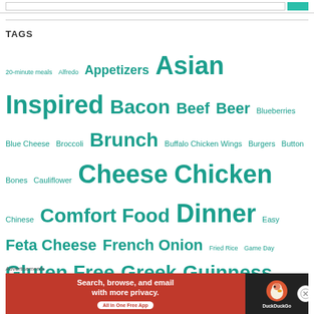TAGS
20-minute meals Alfredo Appetizers Asian Inspired Bacon Beef Beer Blueberries Blue Cheese Broccoli Brunch Buffalo Chicken Wings Burgers Button Bones Cauliflower Cheese Chicken Chinese Comfort Food Dinner Easy Feta Cheese French Onion Fried Rice Game Day Gluten Free Greek Guinness Healthier Healthy Honey Garlic Italian Jalapeno Popper Soup Kale Lemon
[Figure (screenshot): DuckDuckGo advertisement banner: Search, browse, and email with more privacy. All in One Free App. DuckDuckGo logo on dark background.]